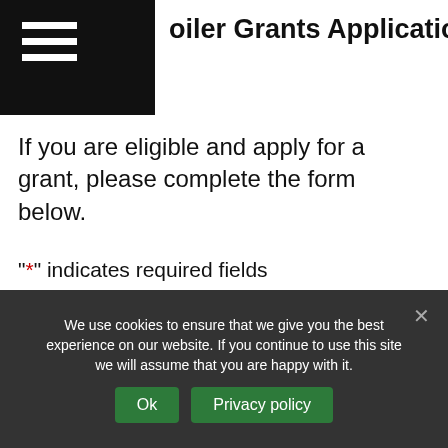Boiler Grants Application Form
If you are eligible and apply for a grant, please complete the form below.
"*" indicates required fields
Step 1 of 4
25%
I am *
We use cookies to ensure that we give you the best experience on our website. If you continue to use this site we will assume that you are happy with it.